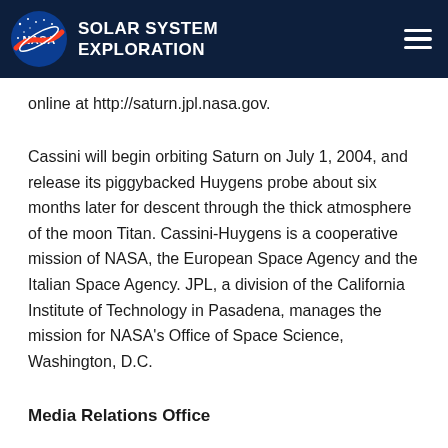SOLAR SYSTEM EXPLORATION
online at http://saturn.jpl.nasa.gov.
Cassini will begin orbiting Saturn on July 1, 2004, and release its piggybacked Huygens probe about six months later for descent through the thick atmosphere of the moon Titan. Cassini-Huygens is a cooperative mission of NASA, the European Space Agency and the Italian Space Agency. JPL, a division of the California Institute of Technology in Pasadena, manages the mission for NASA's Office of Space Science, Washington, D.C.
Media Relations Office
Jet Propulsion Laboratory